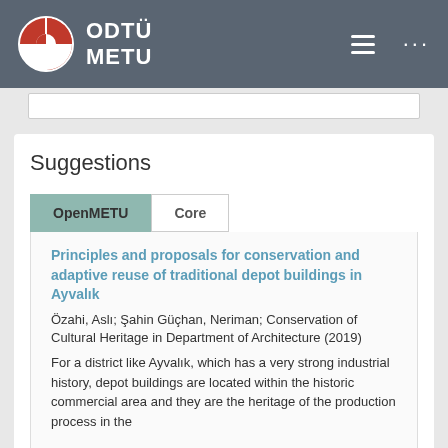ODTÜ METU
Suggestions
OpenMETU | Core
Principles and proposals for conservation and adaptive reuse of traditional depot buildings in Ayvalık
Özahi, Aslı; Şahin Güçhan, Neriman; Conservation of Cultural Heritage in Department of Architecture (2019)
For a district like Ayvalık, which has a very strong industrial history, depot buildings are located within the historic commercial area and they are the heritage of the production process in the